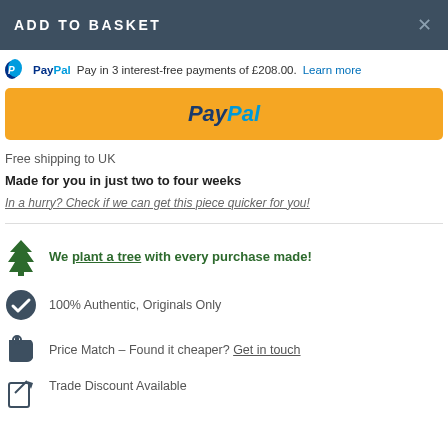ADD TO BASKET
PayPal Pay in 3 interest-free payments of £208.00. Learn more
[Figure (logo): PayPal yellow button with PayPal text in blue italic bold]
Free shipping to UK
Made for you in just two to four weeks
In a hurry? Check if we can get this piece quicker for you!
We plant a tree with every purchase made!
100% Authentic, Originals Only
Price Match – Found it cheaper? Get in touch
Trade Discount Available